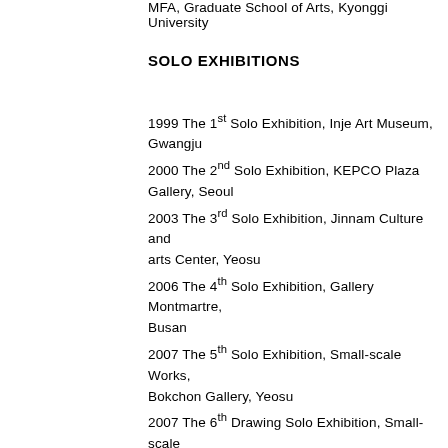MFA, Graduate School of Arts, Kyonggi University
SOLO EXHIBITIONS
1999 The 1st Solo Exhibition, Inje Art Museum, Gwangju
2000 The 2nd Solo Exhibition, KEPCO Plaza Gallery, Seoul
2003 The 3rd Solo Exhibition, Jinnam Culture and arts Center, Yeosu
2006 The 4th Solo Exhibition, Gallery Montmartre, Busan
2007 The 5th Solo Exhibition, Small-scale Works, Bokchon Gallery, Yeosu
2007 The 6th Drawing Solo Exhibition, Small-scale Works, Bokchon Gallery, Yeosu
2009 The 7th Solo Exhibition, La Mer Gallery, Seoul
2009 The 8th Solo Exhibition, KEPCO Plaza Art Museum